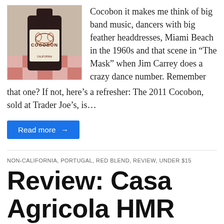[Figure (photo): A bottle of Cocobon wine with a dark label featuring leaf/skull-like design, placed on a table with a red and white checkered tablecloth in the background.]
Cocobon it makes me think of big band music, dancers with big feather headdresses, Miami Beach in the 1960s and that scene in “The Mask” when Jim Carrey does a crazy dance number. Remember that one? If not, here’s a refresher: The 2011 Cocobon, sold at Trader Joe’s, is…
Read more →
NON-CALIFORNIA, PORTUGAL, RED BLEND, REVIEW, UNDER $15
Review: Casa Agricola HMR Varal Tinto